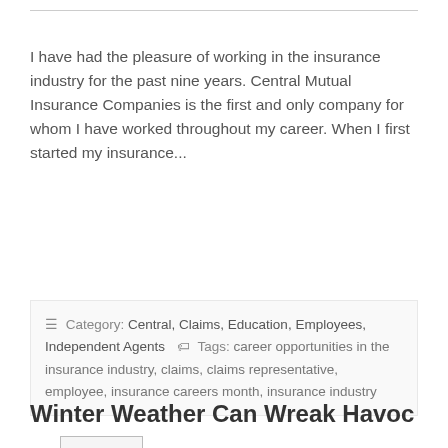I have had the pleasure of working in the insurance industry for the past nine years. Central Mutual Insurance Companies is the first and only company for whom I have worked throughout my career. When I first started my insurance...
Read More
Category: Central, Claims, Education, Employees, Independent Agents   Tags: career opportunities in the insurance industry, claims, claims representative, employee, insurance careers month, insurance industry
Winter Weather Can Wreak Havoc